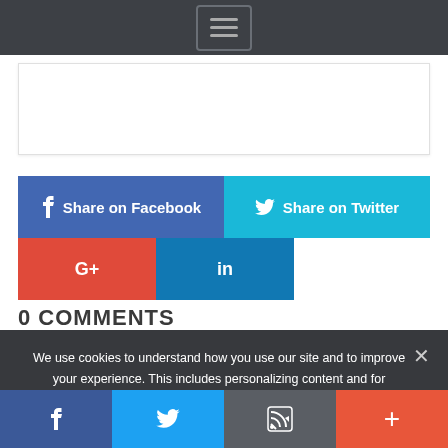[Figure (screenshot): Dark navigation bar with hamburger menu icon (three horizontal lines in a rounded rectangle)]
[Figure (screenshot): White content/ad placeholder box with light border]
[Figure (infographic): Social share buttons: Share on Facebook (blue), Share on Twitter (cyan), G+ (red), LinkedIn (dark blue)]
0 COMMENTS
We use cookies to understand how you use our site and to improve your experience. This includes personalizing content and for marketing purposes. By continuing to use our site, you accept our use of cookies.
[Figure (screenshot): Bottom mobile navigation bar with Facebook, Twitter, RSS/email, and plus icons]